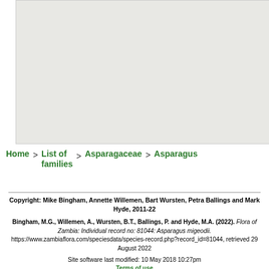[Figure (map): A light grey map area showing a geographic map region, mostly empty/light colored background suggesting a map with no visible detail at this zoom.]
Home > List of families > Asparagaceae > Asparagus
Copyright: Mike Bingham, Annette Willemen, Bart Wursten, Petra Ballings and Mark Hyde, 2011-22
Bingham, M.G., Willemen, A., Wursten, B.T., Ballings, P. and Hyde, M.A. (2022). Flora of Zambia: Individual record no: 81044: Asparagus migeodii. https://www.zambiaflora.com/speciesdata/species-record.php?record_id=81044, retrieved 29 August 2022
Site software last modified: 10 May 2018 10:27pm
Terms of use